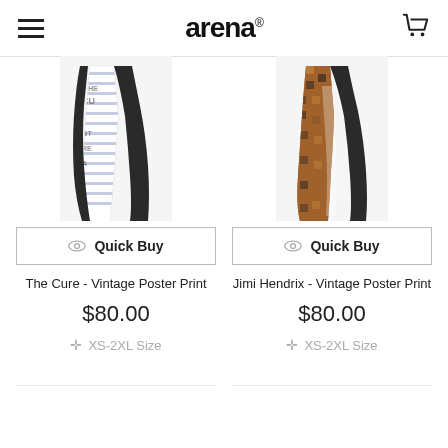[Figure (logo): Arena brand logo in bold black lowercase letters with registered trademark symbol]
[Figure (photo): Female model wearing The Cure Vintage Poster Print leggings - white/blue striped with text print and black accents]
Quick Buy
The Cure - Vintage Poster Print
$80.00
XS-2XL Size
[Figure (photo): Female model wearing Jimi Hendrix Vintage Poster Print leggings - brown/black graphic print]
Quick Buy
Jimi Hendrix - Vintage Poster Print
$80.00
XS-2XL Size